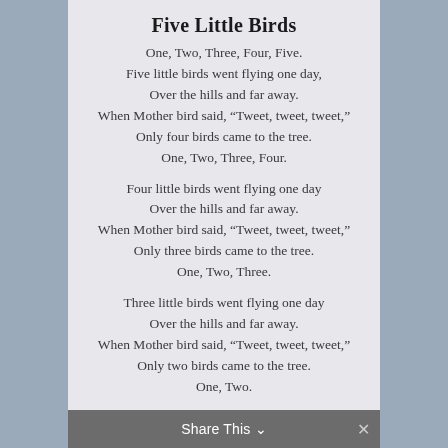Five Little Birds
One, Two, Three, Four, Five.
Five little birds went flying one day,
Over the hills and far away.
When Mother bird said, “Tweet, tweet, tweet,”
Only four birds came to the tree.
One, Two, Three, Four.

Four little birds went flying one day
Over the hills and far away.
When Mother bird said, “Tweet, tweet, tweet,”
Only three birds came to the tree.
One, Two, Three.

Three little birds went flying one day
Over the hills and far away.
When Mother bird said, “Tweet, tweet, tweet,”
Only two birds came to the tree.
One, Two.
Share This ✕